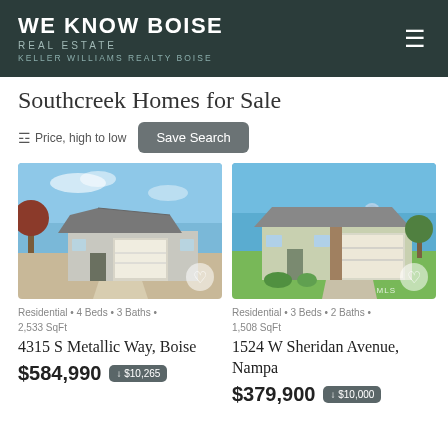WE KNOW BOISE REAL ESTATE KELLER WILLIAMS REALTY BOISE
Southcreek Homes for Sale
Price, high to low   Save Search
[Figure (photo): Photo of a single-story residential home with a two-car garage, gray siding, and landscaping under a blue sky]
Residential • 4 Beds • 3 Baths • 2,533 SqFt
4315 S Metallic Way, Boise
$584,990 ↓ $10,265
[Figure (photo): Photo of a single-story residential home with a two-car garage, light green siding, and large front lawn under a blue sky]
Residential • 3 Beds • 2 Baths • 1,508 SqFt
1524 W Sheridan Avenue, Nampa
$379,900 ↓ $10,000